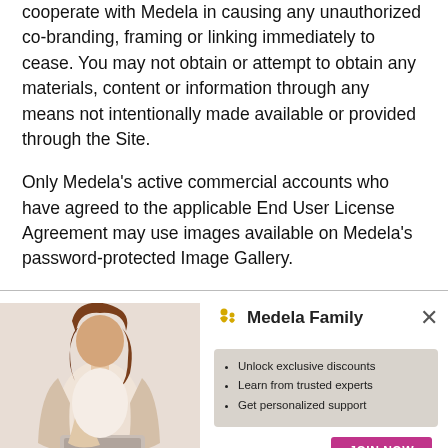cooperate with Medela in causing any unauthorized co-branding, framing or linking immediately to cease. You may not obtain or attempt to obtain any materials, content or information through any means not intentionally made available or provided through the Site.
Only Medela's active commercial accounts who have agreed to the applicable End User License Agreement may use images available on Medela's password-protected Image Gallery.
[Figure (other): Medela Family advertisement banner showing a pregnant woman using a laptop, with Medela Family logo, bullet points listing: Unlock exclusive discounts, Learn from trusted experts, Get personalized support, and a pink JOIN NOW button. A close (×) button is in the top right corner.]